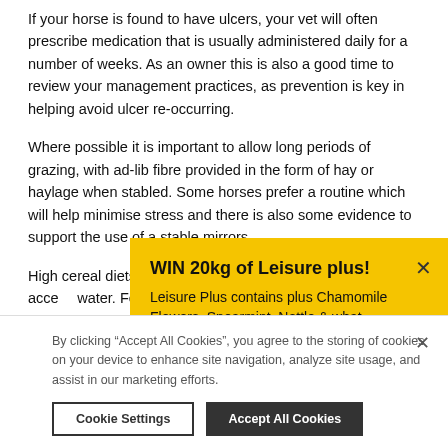If your horse is found to have ulcers, your vet will often prescribe medication that is usually administered daily for a number of weeks.  As an owner this is also a good time to review your management practices, as prevention is key in helping avoid ulcer re-occurring.
Where possible it is important to allow long periods of grazing, with ad-lib fibre provided in the form of hay or haylage when stabled.  Some horses prefer a routine which will help minimise stress and there is also some evidence to support the use of a stable mirrors.
High cereal diets s... with energy sourc... horse having acce... water.  Feeding a h...
[Figure (other): Yellow popup banner: WIN 20kg of Leisure plus! with close X button. Body text: Leisure Plus contains plus Chamomile Flowers, Spearmint, Nettle & what]
By clicking “Accept All Cookies”, you agree to the storing of cookies on your device to enhance site navigation, analyze site usage, and assist in our marketing efforts.